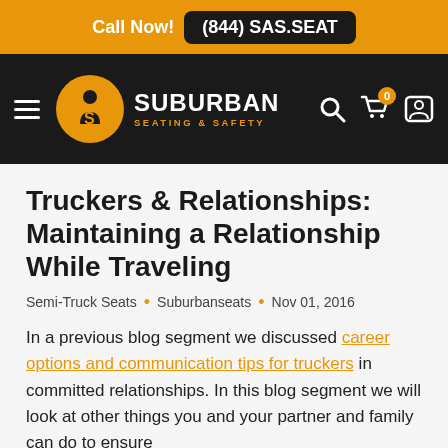Call Now! (844) SAS.SEAT
[Figure (logo): Suburban Seating & Safety logo with navigation bar on dark background]
Truckers & Relationships: Maintaining a Relationship While Traveling
Semi-Truck Seats • Suburbanseats • Nov 01, 2016
In a previous blog segment we discussed career options and communication tips for truckers in committed relationships. In this blog segment we will look at other things you and your partner and family can do to ensure